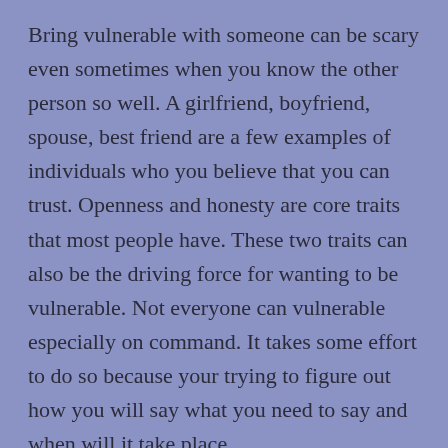Bring vulnerable with someone can be scary even sometimes when you know the other person so well. A girlfriend, boyfriend, spouse, best friend are a few examples of individuals who you believe that you can trust. Openness and honesty are core traits that most people have. These two traits can also be the driving force for wanting to be vulnerable. Not everyone can vulnerable especially on command. It takes some effort to do so because your trying to figure out how you will say what you need to say and when will it take place.
Maybe you were vulnerable at one point and the experience was bad. You decide to put up a wall in your mind toward that person or people who did you wrong. You may even go out of your way